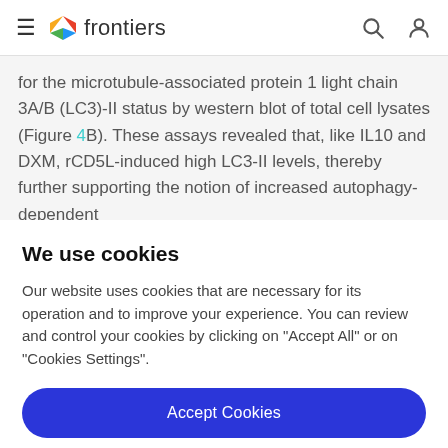frontiers
for the microtubule-associated protein 1 light chain 3A/B (LC3)-II status by western blot of total cell lysates (Figure 4B). These assays revealed that, like IL10 and DXM, rCD5L-induced high LC3-II levels, thereby further supporting the notion of increased autophagy-dependent
We use cookies
Our website uses cookies that are necessary for its operation and to improve your experience. You can review and control your cookies by clicking on "Accept All" or on "Cookies Settings".
Accept Cookies
Cookies Settings